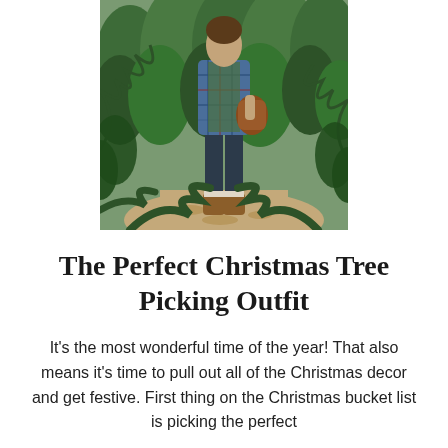[Figure (photo): Person walking through a Christmas tree farm, wearing a plaid shirt, dark jeans, and brown boots, carrying something. Surrounded by green pine trees with dry ground visible.]
The Perfect Christmas Tree Picking Outfit
It's the most wonderful time of the year! That also means it's time to pull out all of the Christmas decor and get festive. First thing on the Christmas bucket list is picking the perfect